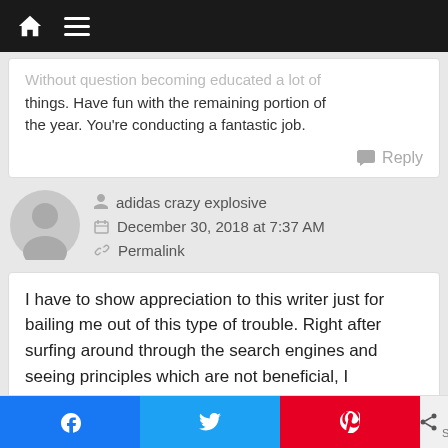Navigation bar with home and menu icons
Without question becoming educated a lot of things. Have fun with the remaining portion of the year. You’re conducting a fantastic job.
Reply
adidas crazy explosive
December 30, 2018 at 7:37 AM
Permalink
I have to show appreciation to this writer just for bailing me out of this type of trouble. Right after surfing around through the search engines and seeing principles which are not beneficial, I